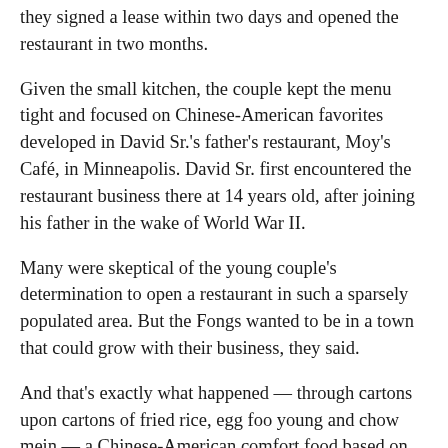they signed a lease within two days and opened the restaurant in two months.
Given the small kitchen, the couple kept the menu tight and focused on Chinese-American favorites developed in David Sr.'s father's restaurant, Moy's Café, in Minneapolis. David Sr. first encountered the restaurant business there at 14 years old, after joining his father in the wake of World War II.
Many were skeptical of the young couple's determination to open a restaurant in such a sparsely populated area. But the Fongs wanted to be in a town that could grow with their business, they said.
And that's exactly what happened — through cartons upon cartons of fried rice, egg foo young and chow mein — a Chinese-American comfort food based on ground pork and celery that can be difficult to find outside the Midwest.
The Fongs are among a few restaurants still serving the classic